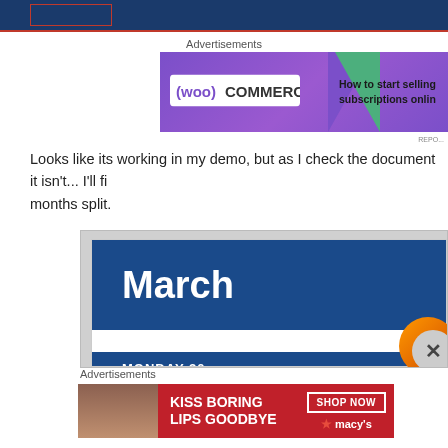[Figure (screenshot): Top dark blue navigation banner with red border box element]
Advertisements
[Figure (other): WooCommerce advertisement banner with purple background, green triangle, WooCommerce logo, and text 'How to start selling subscriptions online']
Looks like its working in my demo, but as I check the document it isn't... I'll fi months split.
[Figure (screenshot): Calendar application screenshot showing March month header in dark blue, MONDAY 30 day header, and time slot rows below. Orange close button visible at bottom right.]
Advertisements
[Figure (other): Macy's advertisement: red background with woman photo, text 'KISS BORING LIPS GOODBYE', SHOP NOW button, and Macy's star logo]